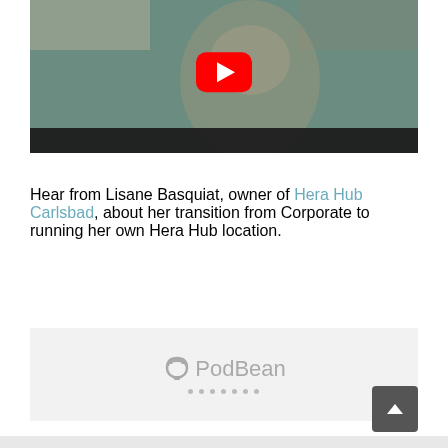[Figure (screenshot): YouTube video thumbnail showing a woman (Lisane Basquiat) with blonde hair speaking, with a YouTube play button overlay in the center. A black bar appears at the bottom of the video frame.]
Hear from Lisane Basquiat, owner of Hera Hub Carlsbad, about her transition from Corporate to running her own Hera Hub location.
[Figure (screenshot): PodBean podcast player widget embedded in a light gray box, showing the PodBean logo with an icon and dotted loading indicator below.]